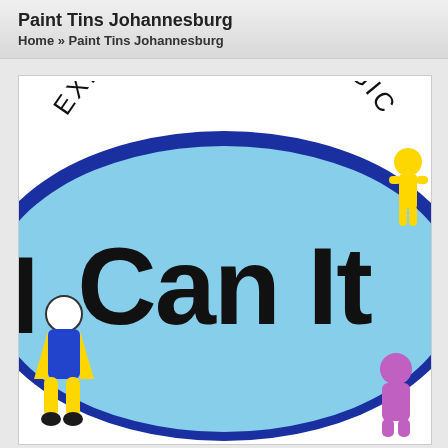Paint Tins Johannesburg
Home » Paint Tins Johannesburg
[Figure (logo): Logo for 'I Can It' paint brand. Features text 'EXPERIENCE THE MAGIC' arced above a large blue oval with dark blue border. Inside the oval in bold black text reads 'I Can It'. Colorful cartoon figures appear around the edges of the oval on a white background.]